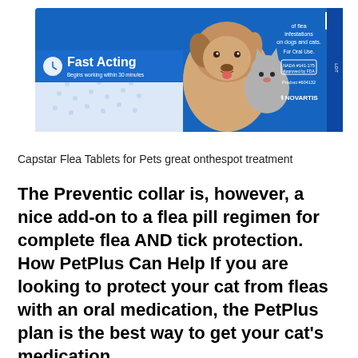[Figure (photo): Capstar flea tablets product box showing a dog and cat, with blue banner reading 'Fast Acting - Begins working within 30 minutes', text about flea infestations on dogs and cats, for oral use, NADA #141-175 Approved by FDA, Product #604132, Novartis logo.]
Capstar Flea Tablets for Pets great onthespot treatment
The Preventic collar is, however, a nice add-on to a flea pill regimen for complete flea AND tick protection. How PetPlus Can Help If you are looking to protect your cat from fleas with an oral medication, the PetPlus plan is the best way to get your cat's medication.